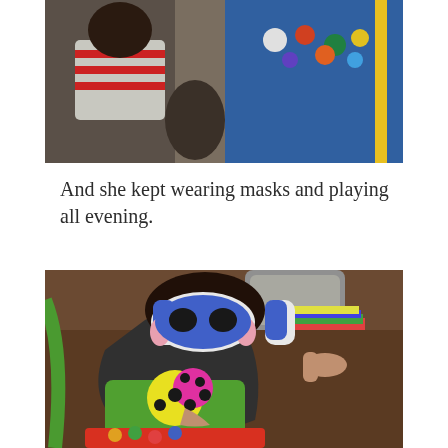[Figure (photo): Child in striped shirt looking down at toys on a blue table with action figures and figurines]
And she kept wearing masks and playing all evening.
[Figure (photo): Child wearing a blue and white bunny/cat mask, sitting on the floor playing with a colorful spotted ladybug board game/toy]